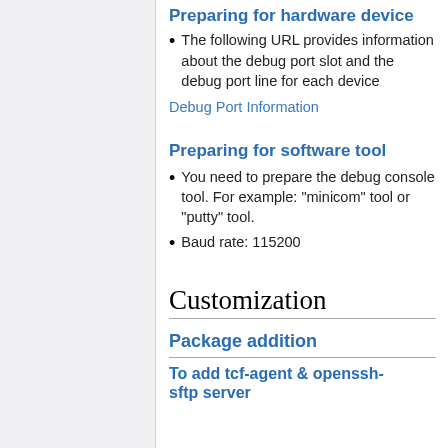Preparing for hardware device
The following URL provides information about the debug port slot and the debug port line for each device
Debug Port Information
Preparing for software tool
You need to prepare the debug console tool. For example: "minicom" tool or "putty" tool.
Baud rate: 115200
Customization
Package addition
To add tcf-agent & openssh-sftp server